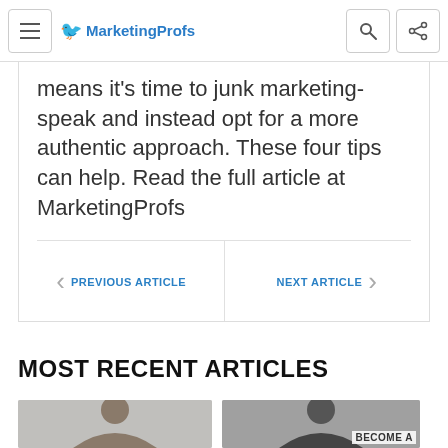MarketingProfs
means it's time to junk marketing-speak and instead opt for a more authentic approach. These four tips can help. Read the full article at MarketingProfs
PREVIOUS ARTICLE
NEXT ARTICLE
MOST RECENT ARTICLES
[Figure (photo): Photo of a woman, partial view]
[Figure (photo): Photo of a person in dark clothing with BECOME A label]